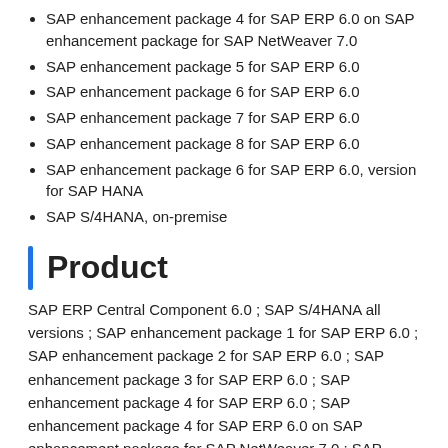SAP enhancement package 4 for SAP ERP 6.0 on SAP enhancement package for SAP NetWeaver 7.0
SAP enhancement package 5 for SAP ERP 6.0
SAP enhancement package 6 for SAP ERP 6.0
SAP enhancement package 7 for SAP ERP 6.0
SAP enhancement package 8 for SAP ERP 6.0
SAP enhancement package 6 for SAP ERP 6.0, version for SAP HANA
SAP S/4HANA, on-premise
Product
SAP ERP Central Component 6.0 ; SAP S/4HANA all versions ; SAP enhancement package 1 for SAP ERP 6.0 ; SAP enhancement package 2 for SAP ERP 6.0 ; SAP enhancement package 3 for SAP ERP 6.0 ; SAP enhancement package 4 for SAP ERP 6.0 ; SAP enhancement package 4 for SAP ERP 6.0 on SAP enhancement package for SAP NetWeaver 7.0 ; SAP enhancement package 5 for SAP ERP 6.0 ; SAP enhancement package 6 for SAP ERP 6.0 ; SAP enhancement package 7 for SAP ERP 6.0 ; SAP enhancement package 8 for SAP ERP 6.0